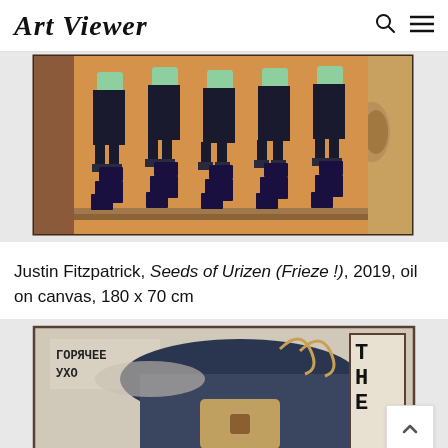Art Viewer
[Figure (photo): Painting showing repeated figures of men in dark suits with teal-colored upper bodies dancing or marching in a line against an orange background, with a realistic ear visible on the right side and a face on the left edge.]
Justin Fitzpatrick, Seeds of Urizen (Frieze !), 2019, oil on canvas, 180 x 70 cm
[Figure (photo): Painting showing a figure with Cyrillic text 'Горячее Ухо' (Hot Ear) on the left, featuring surrealist imagery with a large hat, small animals, and bold block letters on the right side.]